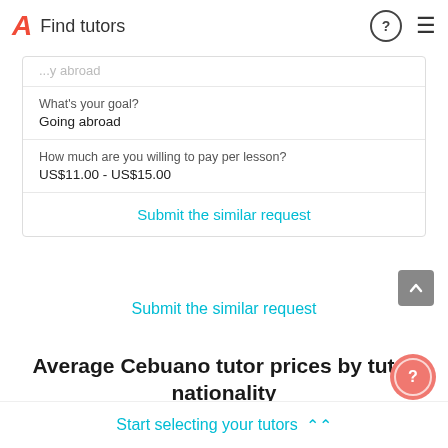Find tutors
What's your goal?
Going abroad
How much are you willing to pay per lesson?
US$11.00 - US$15.00
Submit the similar request
Submit the similar request
Average Cebuano tutor prices by tutor nationality
Start selecting your tutors